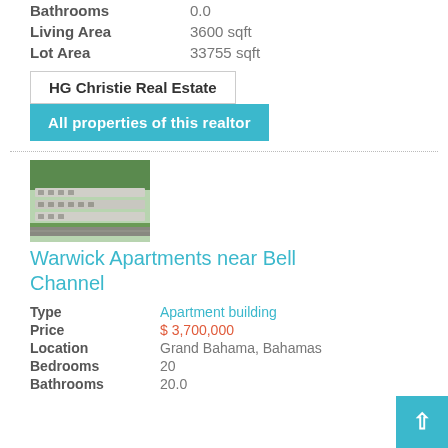Bathrooms: 0.0
Living Area: 3600 sqft
Lot Area: 33755 sqft
HG Christie Real Estate
All properties of this realtor
[Figure (photo): Aerial view of Warwick Apartments near Bell Channel, showing rows of apartment buildings with trees and a road]
Warwick Apartments near Bell Channel
Type: Apartment building
Price: $ 3,700,000
Location: Grand Bahama, Bahamas
Bedrooms: 20
Bathrooms: 20.0